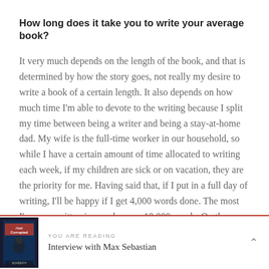How long does it take you to write your average book?
It very much depends on the length of the book, and that is determined by how the story goes, not really my desire to write a book of a certain length. It also depends on how much time I'm able to devote to the writing because I split my time between being a writer and being a stay-at-home dad. My wife is the full-time worker in our household, so while I have a certain amount of time allocated to writing each week, if my children are sick or on vacation, they are the priority for me. Having said that, if I put in a full day of writing, I'll be happy if I get 4,000 words done. The most I've ever written in one day was 10,000 words. On the whole, I can write a full-size
YOU ARE READING
Interview with Max Sebastian